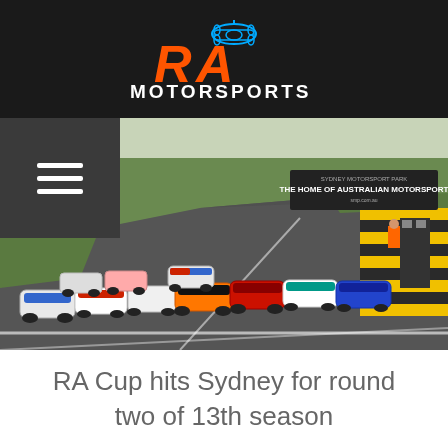[Figure (logo): RA Motorsports logo with orange RA text and blue race car icon above MOTORSPORTS text in white]
[Figure (photo): Race cars at the start of a race at Sydney Motorsport Park, with a sign reading THE HOME OF AUSTRALIAN MOTORSPORT visible in the background. Multiple Radical-style open-top race cars lined up on the track with green grass and safety barriers visible.]
RA Cup hits Sydney for round two of 13th season